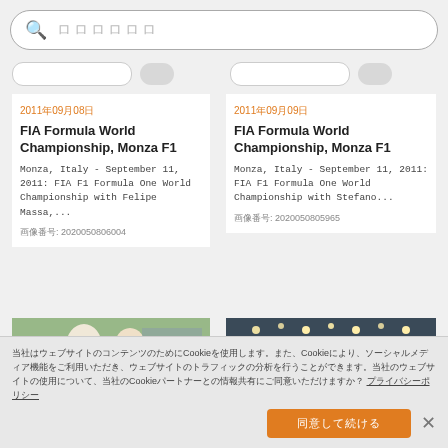ローロロロロ (search bar placeholder)
2011年09月08日
FIA Formula World Championship, Monza F1
Monza, Italy - September 11, 2011: FIA F1 Formula One World Championship with Felipe Massa,...
画像番号: 2020050806004
2011年09月09日
FIA Formula World Championship, Monza F1
Monza, Italy - September 11, 2011: FIA F1 Formula One World Championship with Stefano...
画像番号: 2020050805965
[Figure (photo): Two people talking at a racing event, Monza F1]
[Figure (photo): Interior of a venue with lights on ceiling, car show or event]
当社はウェブサイトのコンテンツのためにCookieを使用します。また、Cookieにより、ソーシャルメディア機能をご利用いただき、ウェブサイトのトラフィックの分析を行うことができます。当社のウェブサイトの使用について、当社のCookieパートナーとの情報共有にご同意いただけますか？ プライバシーポリシー
同意して続ける